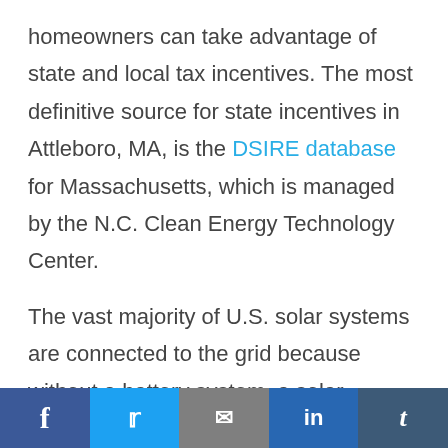homeowners can take advantage of state and local tax incentives. The most definitive source for state incentives in Attleboro, MA, is the DSIRE database for Massachusetts, which is managed by the N.C. Clean Energy Technology Center.

The vast majority of U.S. solar systems are connected to the grid because without a battery system, a solar homeowner will need to draw power from the grid when their system is not
Social share bar: Facebook, Twitter, Email, LinkedIn, Tumblr